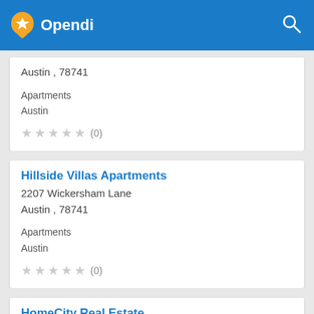Opendi
Austin , 78741

Apartments
Austin
★★★★★ (0)
Hillside Villas Apartments
2207 Wickersham Lane
Austin , 78741

Apartments
Austin
★★★★★ (0)
HomeCity Real Estate
7000 Bee Cave Rd
Austin , 78746
☎ (512) 502 8900